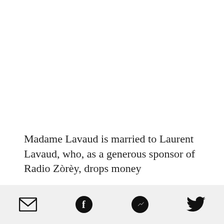Madame Lavaud is married to Laurent Lavaud, who, as a generous sponsor of Radio Zòrèy, drops money
[Figure (other): Social sharing icon bar with email, Facebook, Messenger, and Twitter icons]